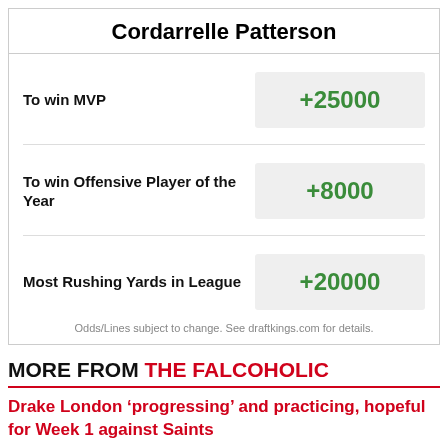Cordarrelle Patterson
| Bet Type | Odds |
| --- | --- |
| To win MVP | +25000 |
| To win Offensive Player of the Year | +8000 |
| Most Rushing Yards in League | +20000 |
Odds/Lines subject to change. See draftkings.com for details.
MORE FROM THE FALCOHOLIC
Drake London ‘progressing’ and practicing, hopeful for Week 1 against Saints